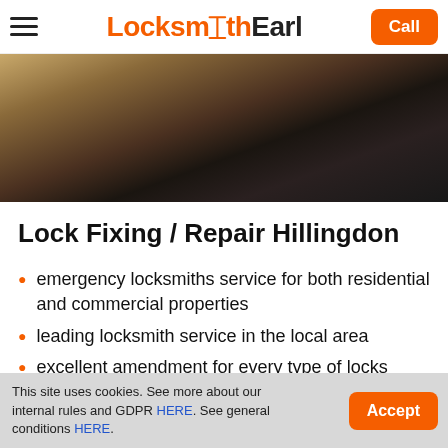Locksmith Earl — Call
[Figure (photo): Close-up photo of a person inserting or using a key/lock near a wooden door, dark and warm tones]
Lock Fixing / Repair Hillingdon
emergency locksmiths service for both residential and commercial properties
leading locksmith service in the local area
excellent amendment for every type of locks
locksmith service for every situation
This site uses cookies. See more about our internal rules and GDPR HERE. See general conditions HERE.